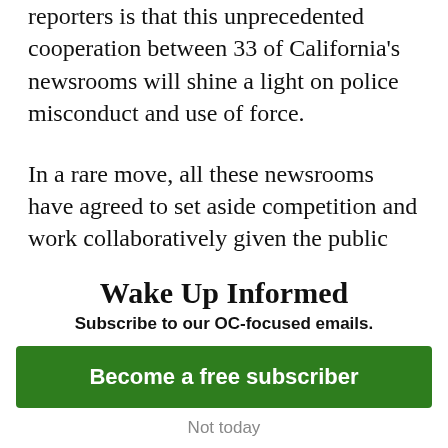reporters is that this unprecedented cooperation between 33 of California's newsrooms will shine a light on police misconduct and use of force.
In a rare move, all these newsrooms have agreed to set aside competition and work collaboratively given the public service this reporting will provide.
Here in Orange County, our collaboration already logged a big win in court, after we
Wake Up Informed
Subscribe to our OC-focused emails.
Become a free subscriber
Not today